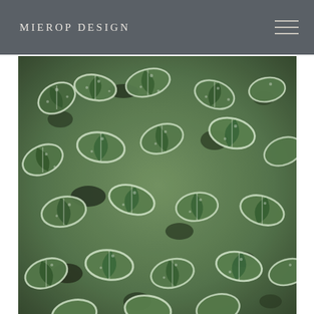MIEROP DESIGN
[Figure (photo): Close-up photograph of frost-covered green leaves, densely packed, with white frost crystals edging the leaves giving them a winter appearance.]